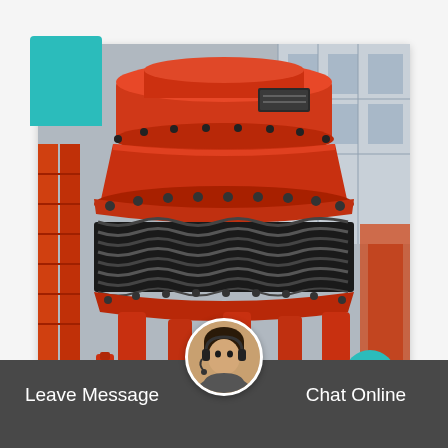[Figure (photo): Large orange industrial cone crusher machine photographed close-up, showing multiple stacked sections with black spring coils and heavy metal components, industrial background with scaffolding]
the iron ore mining process crusher usa - Birch
Iron ore processing equipment comprising two PE jaw...
Leave Message
Chat Online